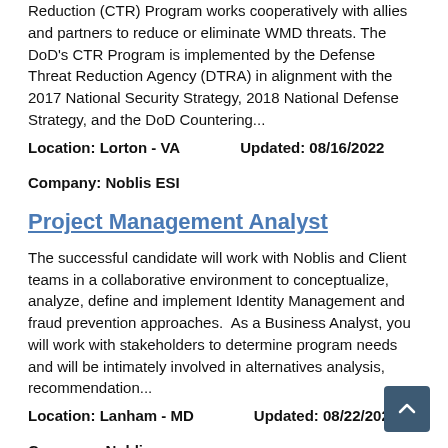Reduction (CTR) Program works cooperatively with allies and partners to reduce or eliminate WMD threats. The DoD's CTR Program is implemented by the Defense Threat Reduction Agency (DTRA) in alignment with the 2017 National Security Strategy, 2018 National Defense Strategy, and the DoD Countering...
Location: Lorton - VA     Updated: 08/16/2022
Company: Noblis ESI
Project Management Analyst
The successful candidate will work with Noblis and Client teams in a collaborative environment to conceptualize, analyze, define and implement Identity Management and fraud prevention approaches.  As a Business Analyst, you will work with stakeholders to determine program needs and will be intimately involved in alternatives analysis, recommendation...
Location: Lanham - MD     Updated: 08/22/2022
Company: Noblis